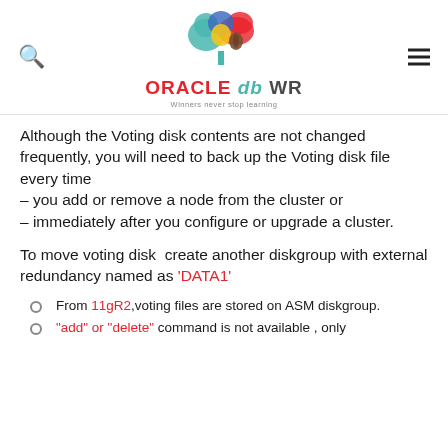[Figure (logo): Oracle db WR logo with colorful cloud/tree icon and tagline 'Winners never stop learning']
Although the Voting disk contents are not changed frequently, you will need to back up the Voting disk file every time
– you add or remove a node from the cluster or
– immediately after you configure or upgrade a cluster.
To move voting disk  create another diskgroup with external redundancy named as 'DATA1'
From 11gR2,voting files are stored on ASM diskgroup.
"add" or "delete" command is not available , only